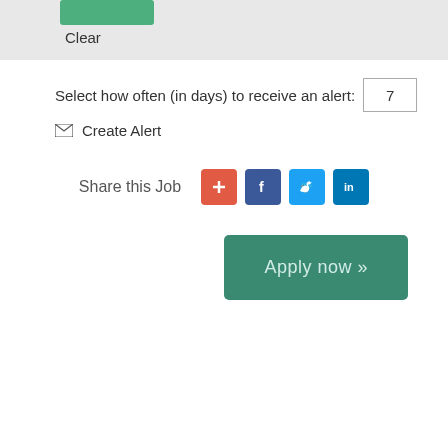Clear
Select how often (in days) to receive an alert: 7
✉ Create Alert
Share this Job
[Figure (other): Social sharing buttons: plus (red), Facebook (blue), Twitter (light blue), LinkedIn (dark blue)]
Apply now »